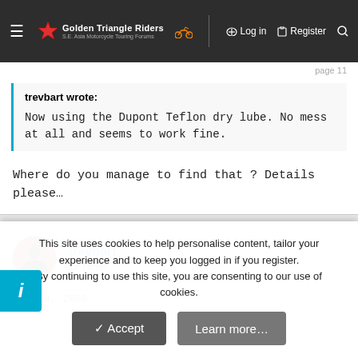Golden Triangle Riders — S.E. Asia Motorcycle Touring Forums | Log in | Register
trevbart wrote:

Now using the Dupont Teflon dry lube. No mess at all and seems to work fine.
Where do you manage to find that ? Details please…
trevbart
Ol'Timer
Oct 14, 2008
This site uses cookies to help personalise content, tailor your experience and to keep you logged in if you register.
By continuing to use this site, you are consenting to our use of cookies.